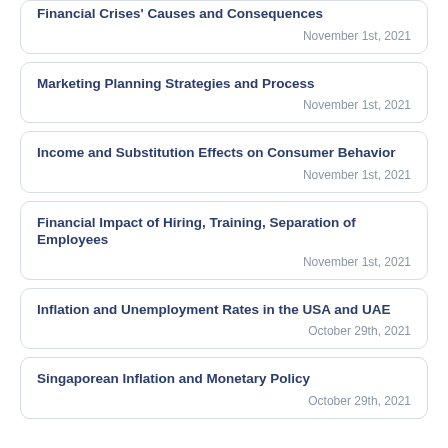Financial Crises' Causes and Consequences
November 1st, 2021
Marketing Planning Strategies and Process
November 1st, 2021
Income and Substitution Effects on Consumer Behavior
November 1st, 2021
Financial Impact of Hiring, Training, Separation of Employees
November 1st, 2021
Inflation and Unemployment Rates in the USA and UAE
October 29th, 2021
Singaporean Inflation and Monetary Policy
October 29th, 2021